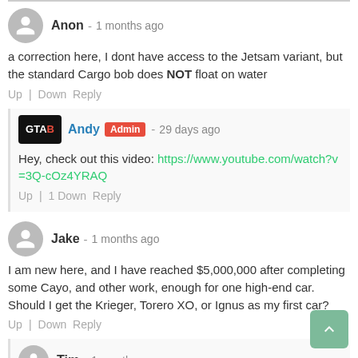Anon - 1 months ago
a correction here, I dont have access to the Jetsam variant, but the standard Cargo bob does NOT float on water
Up | Down Reply
Andy Admin - 29 days ago
Hey, check out this video: https://www.youtube.com/watch?v=3Q-cOz4YRAQ
Up | 1 Down Reply
Jake - 1 months ago
I am new here, and I have reached $5,000,000 after completing some Cayo, and other work, enough for one high-end car. Should I get the Krieger, Torero XO, or Ignus as my first car?
Up | Down Reply
Tim - 1 months ago
Get the Itali RSX